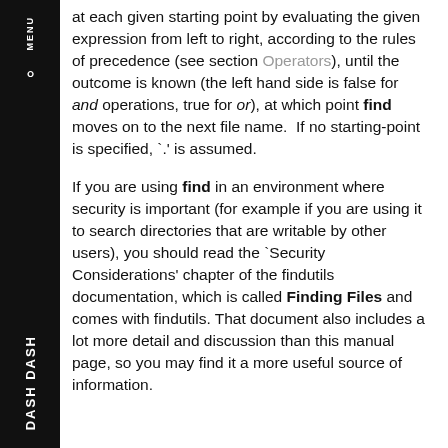at each given starting point by evaluating the given expression from left to right, according to the rules of precedence (see section Operators), until the outcome is known (the left hand side is false for and operations, true for or), at which point find moves on to the next file name.  If no starting-point is specified, `.' is assumed.
If you are using find in an environment where security is important (for example if you are using it to search directories that are writable by other users), you should read the `Security Considerations' chapter of the findutils documentation, which is called Finding Files and comes with findutils. That document also includes a lot more detail and discussion than this manual page, so you may find it a more useful source of information.